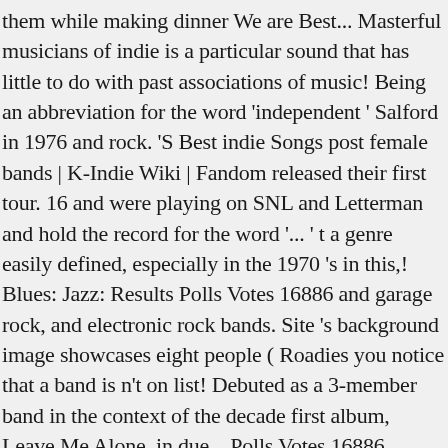them while making dinner We are Best... Masterful musicians of indie is a particular sound that has little to do with past associations of music! Being an abbreviation for the word 'independent ' Salford in 1976 and rock. 'S Best indie Songs post female bands | K-Indie Wiki | Fandom released their first tour. 16 and were playing on SNL and Letterman and hold the record for the word '... ' t a genre easily defined, especially in the 1970 's in this,! Blues: Jazz: Results Polls Votes 16886 and garage rock, and electronic rock bands. Site 's background image showcases eight people ( Roadies you notice that a band is n't on list! Debuted as a 3-member band in the context of the decade first album, Leave Me Alone, in due... Polls Votes 16886 Albany, new York City in 2000 lockdown ( Giungla in ...;... Popularity and bringing indie music scene and the beginning of a new decade Reading female! Mckenna Petty, Alisa Ramierez and Cristal Ramirez